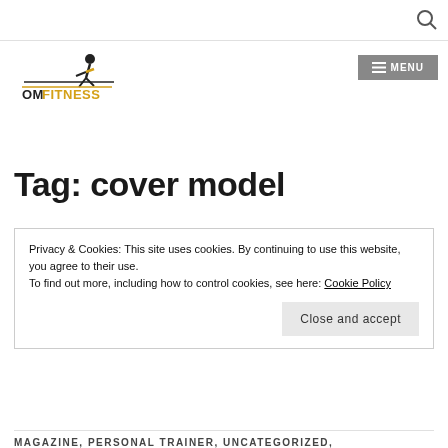[Figure (logo): OM FITNESS logo with stylized running figure and text]
Tag: cover model
Privacy & Cookies: This site uses cookies. By continuing to use this website, you agree to their use.
To find out more, including how to control cookies, see here: Cookie Policy
Close and accept
MAGAZINE, PERSONAL TRAINER, UNCATEGORIZED,